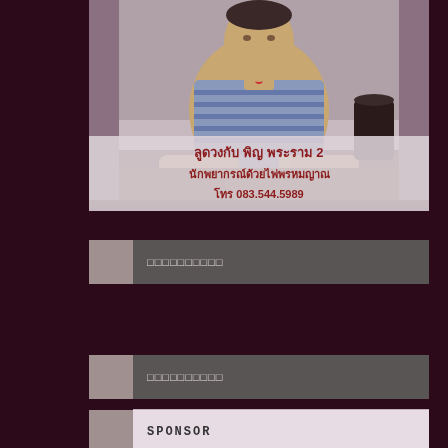[Figure (photo): Photo of a person sitting at a table, wearing a striped shirt, with food/drinks visible. Below the photo is a semi-transparent overlay with Thai text caption and phone number.]
ลูดวงกับ พิญ พระราม 2
นักพยากรณ์ด้วยไพ่พรหมญาณ
โทร 083.544.5989
□□□□□□□□□□
□□□□□□□□□□
SPONSOR